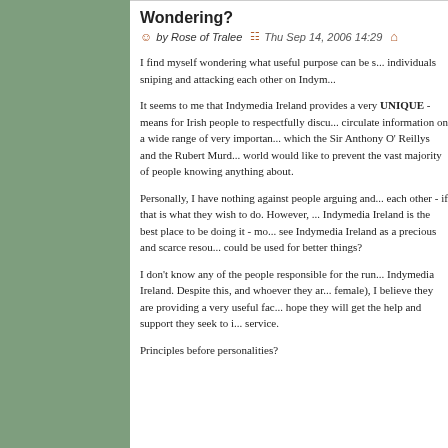Wondering?
by Rose of Tralee  Thu Sep 14, 2006 14:29
I find myself wondering what useful purpose can be s... individuals sniping and attacking each other on Indym...
It seems to me that Indymedia Ireland provides a very UNIQUE - means for Irish people to respectfully discu... circulate information on a wide range of very importan... which the Sir Anthony O' Reillys and the Rubert Murd... world would like to prevent the vast majority of people knowing anything about.
Personally, I have nothing against people arguing and... each other - if that is what they wish to do. However, ... Indymedia Ireland is the best place to be doing it - mo... see Indymedia Ireland as a precious and scarce resou... could be used for better things?
I don't know any of the people responsible for the run... Indymedia Ireland. Despite this, and whoever they ar... female), I believe they are providing a very useful fac... hope they will get the help and support they seek to i... service.
Principles before personalities?